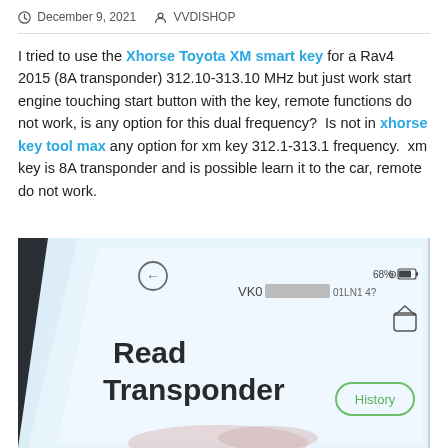December 9, 2021   VVDISHOP
I tried to use the Xhorse Toyota XM smart key for a Rav4 2015 (8A transponder) 312.10-313.10 MHz but just work start engine touching start button with the key, remote functions do not work, is any option for this dual frequency?  Is not in xhorse key tool max any option for xm key 312.1-313.1 frequency.  xm key is 8A transponder and is possible learn it to the car, remote do not work.
[Figure (screenshot): Screenshot of a smartphone app showing 'Read Transponder' screen with a History button and VK0 device info, 68% battery.]